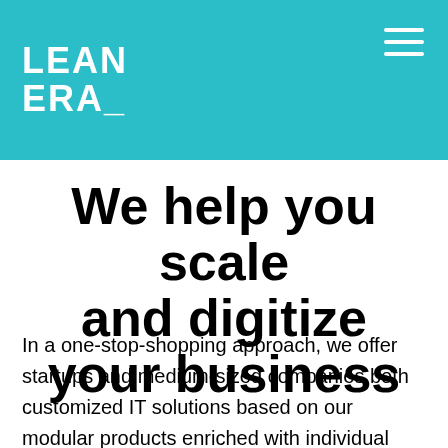LEAN ERA
We help you scale and digitize your business
In a one-stop-shopping approach, we offer startups and medium-sized companies both customized IT solutions based on our modular products enriched with individual components as needed, in combination with IT-related BPO services.